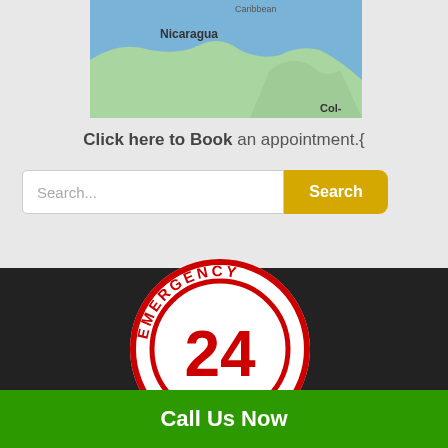[Figure (map): Partial map showing Nicaragua and Caribbean region with blue water background]
Click here to Book an appointment.{
[Figure (screenshot): Search bar with placeholder text 'Search...' and a yellow Search button]
[Figure (logo): Emergency 24 Hour circular red and white badge/logo]
Call Us Now